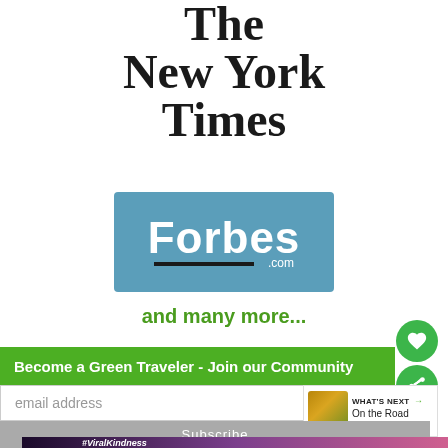[Figure (logo): The New York Times masthead logo in blackletter/Old English style typography]
[Figure (logo): Forbes.com logo: white bold sans-serif text on blue background with black underline bar and '.com' text]
and many more...
[Figure (screenshot): Green circular heart/like button icon]
[Figure (screenshot): Green circular share button icon]
Become a Green Traveler - Join our Community
email address
[Figure (photo): What's Next thumbnail - On the Road With... article preview]
Subscribe
[Figure (screenshot): #ViralKindness advertisement with heart hands silhouette]